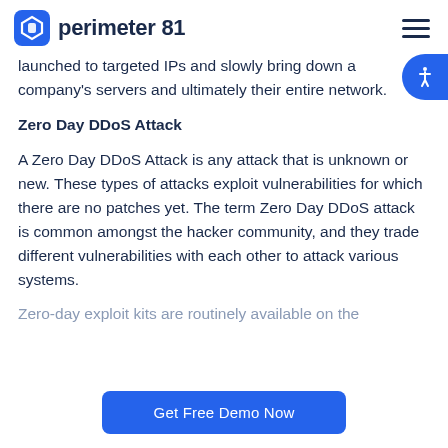perimeter 81
launched to targeted IPs and slowly bring down a company's servers and ultimately their entire network.
Zero Day DDoS Attack
A Zero Day DDoS Attack is any attack that is unknown or new. These types of attacks exploit vulnerabilities for which there are no patches yet. The term Zero Day DDoS attack is common amongst the hacker community, and they trade different vulnerabilities with each other to attack various systems.
Zero-day exploit kits are routinely available on the
Get Free Demo Now